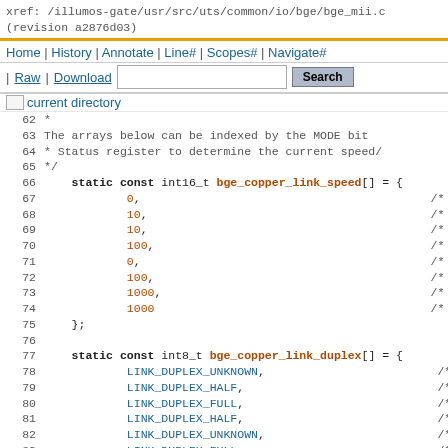xref: /illumos-gate/usr/src/uts/common/io/bge/bge_mii.c
(revision a2876d03)
Home | History | Annotate | Line# | Scopes# | Navigate#
| Raw | Download  [Search]
current directory
Source code viewer showing lines 62-85 of bge_mii.c including static const arrays bge_copper_link_speed and bge_copper_link_duplex